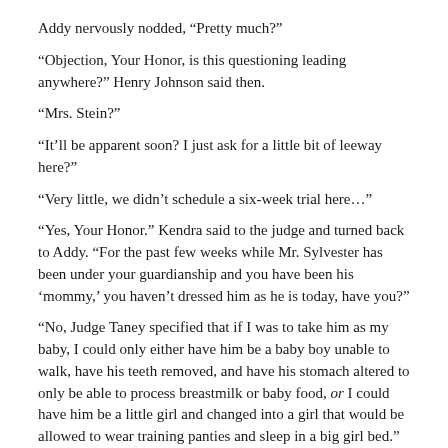Addy nervously nodded, “Pretty much?”
“Objection, Your Honor, is this questioning leading anywhere?” Henry Johnson said then.
“Mrs. Stein?”
“It’ll be apparent soon? I just ask for a little bit of leeway here?”
“Very little, we didn’t schedule a six-week trial here…”
“Yes, Your Honor.” Kendra said to the judge and turned back to Addy. “For the past few weeks while Mr. Sylvester has been under your guardianship and you have been his ‘mommy,’ you haven’t dressed him as he is today, have you?”
“No, Judge Taney specified that if I was to take him as my baby, I could only either have him be a baby boy unable to walk, have his teeth removed, and have his stomach altered to only be able to process breastmilk or baby food, or I could have him be a little girl and changed into a girl that would be allowed to wear training panties and sleep in a big girl bed.”
“You were supposed to choose for him?”
She squirmed, “Yes, I was supposed to choose. I let Cam tell me her… his preference though.”